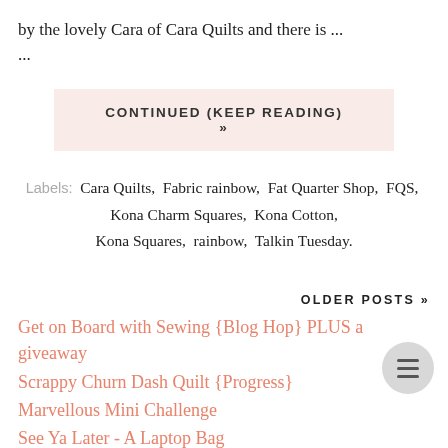by the lovely Cara of Cara Quilts and there is ...
CONTINUED (KEEP READING) »
Labels: Cara Quilts, Fabric rainbow, Fat Quarter Shop, FQS, Kona Charm Squares, Kona Cotton, Kona Squares, rainbow, Talkin Tuesday.
OLDER POSTS »
Get on Board with Sewing {Blog Hop} PLUS a giveaway
Scrappy Churn Dash Quilt {Progress}
Marvellous Mini Challenge
See Ya Later - A Laptop Bag